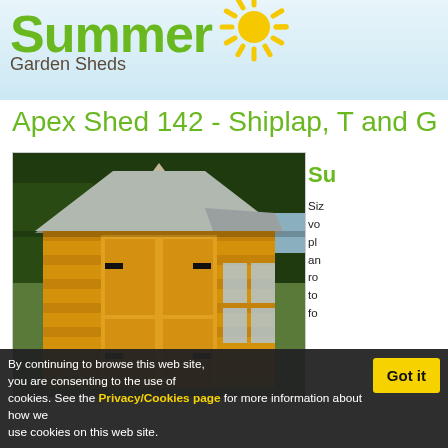Summer Garden Sheds - logo
Apex Shed 142 - Shiplap, T and G
[Figure (photo): Photo of a large wooden apex garden shed with shiplap cladding, a central double door with black hinges, side windows, and a felt-covered apex roof, set against a backdrop of trees.]
Su
Siz vo pl an ro to fo
By continuing to browse this web site, you are consenting to the use of cookies. See the Privacy/Cookies page for more information about how we use cookies on this web site.